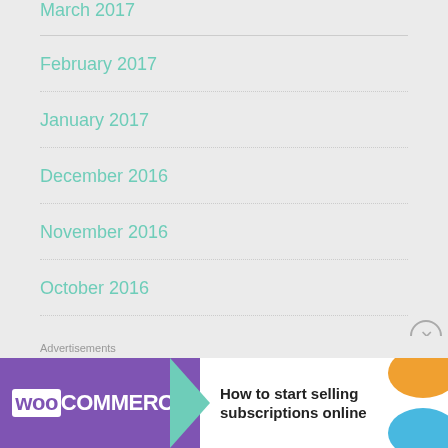March 2017
February 2017
January 2017
December 2016
November 2016
October 2016
September 2016
August 2016
July 2016
Advertisements
[Figure (screenshot): WooCommerce advertisement banner: purple background with WooCommerce logo and green arrow, text 'How to start selling subscriptions online', decorative orange and blue circles on right]